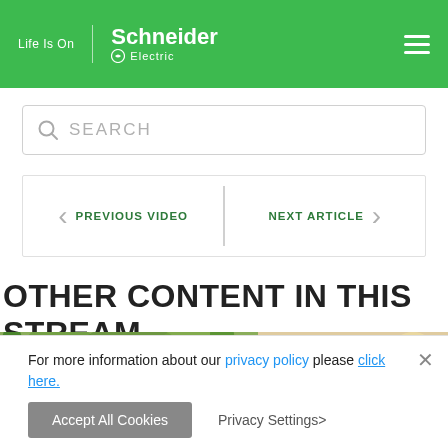[Figure (logo): Schneider Electric 'Life Is On' logo on green header with hamburger menu icon]
[Figure (screenshot): Search bar with magnifying glass icon and SEARCH placeholder text]
< PREVIOUS VIDEO | NEXT ARTICLE >
OTHER CONTENT IN THIS STREAM
[Figure (photo): Two photos side by side: people outdoors looking at something, and a building/architectural photo]
For more information about our privacy policy please click here.
Accept All Cookies   Privacy Settings>